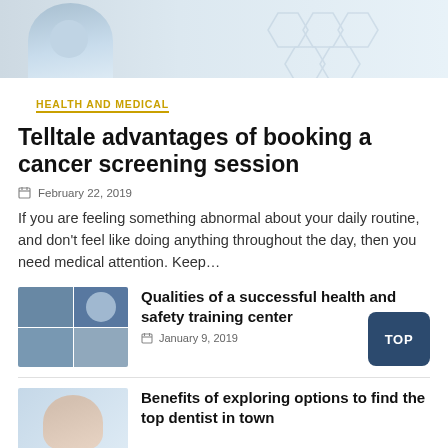[Figure (photo): Hero image of a medical professional in white coat with hexagon background pattern]
HEALTH AND MEDICAL
Telltale advantages of booking a cancer screening session
February 22, 2019
If you are feeling something abnormal about your daily routine, and don't feel like doing anything throughout the day, then you need medical attention. Keep…
[Figure (photo): Collage of health and safety training images]
Qualities of a successful health and safety training center
January 9, 2019
Benefits of exploring options to find the top dentist in town
[Figure (photo): Person smiling, dental related photo]